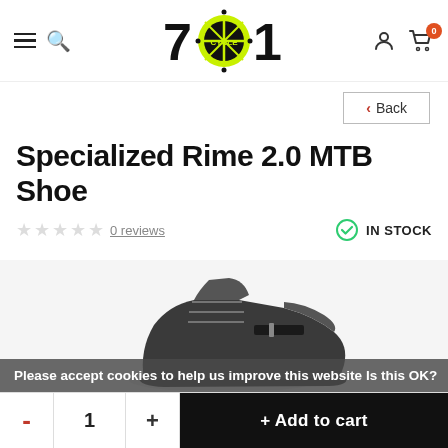701 Cycle - Navigation header with menu, search, logo, account, cart
Back
Specialized Rime 2.0 MTB Shoe
0 reviews   IN STOCK
[Figure (photo): Partial view of a Specialized Rime 2.0 MTB cycling shoe in dark grey/black]
Please accept cookies to help us improve this website Is this OK?
- 1 + Add to cart